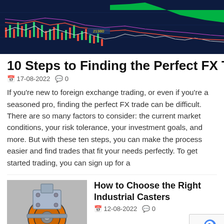[Figure (screenshot): Trading chart screenshot showing candlestick/line chart with green highlighted area, multiple colored lines on dark blue background, with price levels including 21980]
10 Steps to Finding the Perfect FX Trade
📅 17-08-2022   💬 0
If you're new to foreign exchange trading, or even if you're a seasoned pro, finding the perfect FX trade can be difficult. There are so many factors to consider: the current market conditions, your risk tolerance, your investment goals, and more. But with these ten steps, you can make the process easier and find trades that fit your needs perfectly. To get started trading, you can sign up for a
[Figure (photo): Industrial caster wheel with orange rubber wheel and metal bracket]
How to Choose the Right Industrial Casters
📅 12-08-2022   💬 0